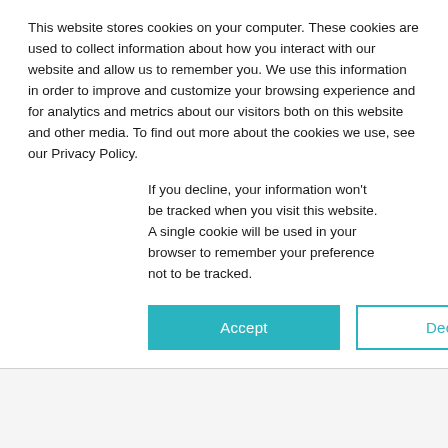This website stores cookies on your computer. These cookies are used to collect information about how you interact with our website and allow us to remember you. We use this information in order to improve and customize your browsing experience and for analytics and metrics about our visitors both on this website and other media. To find out more about the cookies we use, see our Privacy Policy.
If you decline, your information won't be tracked when you visit this website. A single cookie will be used in your browser to remember your preference not to be tracked.
Accept | Decline
INCREASE PARTNER EFFECTIVENESS